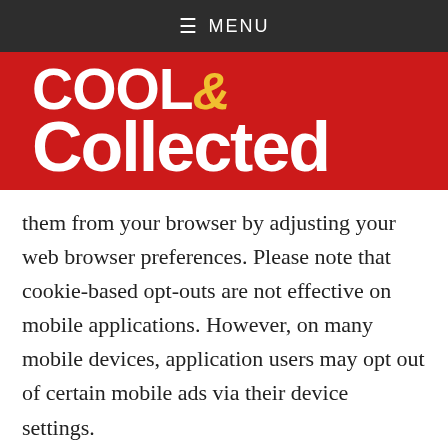≡ MENU
[Figure (logo): Cool & Collected logo — white bold text on red background with yellow ampersand]
them from your browser by adjusting your web browser preferences. Please note that cookie-based opt-outs are not effective on mobile applications. However, on many mobile devices, application users may opt out of certain mobile ads via their device settings.
The online advertising industry also provides websites from which you may opt out of receiving targeted ads from our data partners and our other